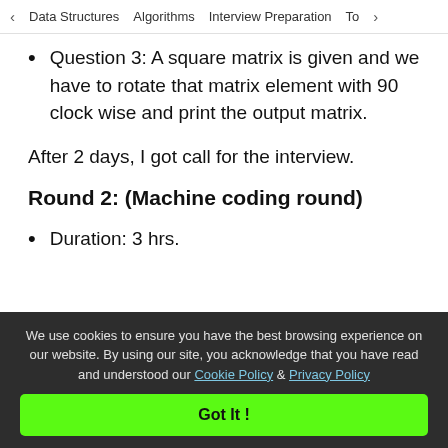< Data Structures   Algorithms   Interview Preparation   To>
Question 3: A square matrix is given and we have to rotate that matrix element with 90 clockwise and print the output matrix.
After 2 days, I got call for the interview.
Round 2: (Machine coding round)
Duration: 3 hrs.
This round is essentially about resolving a real-world design problem. The task assigned to me was to create a calendar application that schedules meetings, displays different use
We use cookies to ensure you have the best browsing experience on our website. By using our site, you acknowledge that you have read and understood our Cookie Policy & Privacy Policy
Got It !